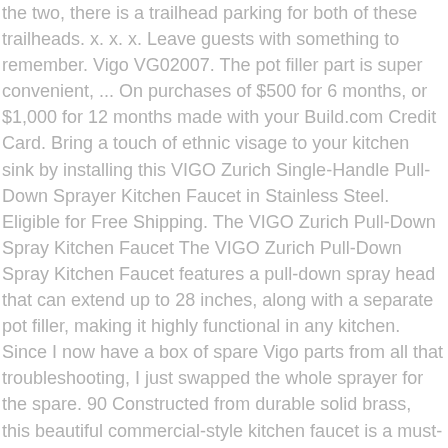the two, there is a trailhead parking for both of these trailheads. x. x. x. Leave guests with something to remember. Vigo VG02007. The pot filler part is super convenient, ... On purchases of $500 for 6 months, or $1,000 for 12 months made with your Build.com Credit Card. Bring a touch of ethnic visage to your kitchen sink by installing this VIGO Zurich Single-Handle Pull-Down Sprayer Kitchen Faucet in Stainless Steel. Eligible for Free Shipping. The VIGO Zurich Pull-Down Spray Kitchen Faucet The VIGO Zurich Pull-Down Spray Kitchen Faucet features a pull-down spray head that can extend up to 28 inches, along with a separate pot filler, making it highly functional in any kitchen. Since I now have a box of spare Vigo parts from all that troubleshooting, I just swapped the whole sprayer for the spare. 90 Constructed from durable solid brass, this beautiful commercial-style kitchen faucet is a must-have in any home. Save money. MODEL: VG02007. Make sure the faucet isperpendicular to the counter. Will be void on these parts Protect your eyes with safety glasses when cutting ... VG02007 THE MEASUREMENTS IN INCHES ARE ROUNDED TO TH